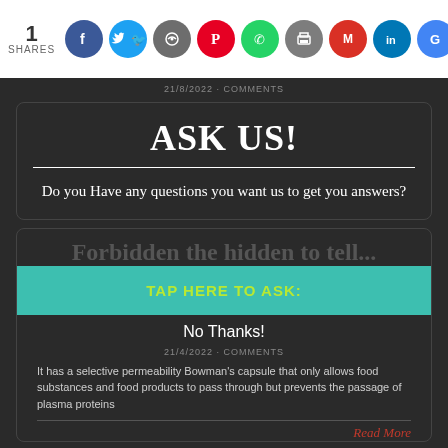1 SHARES [social share icons: Facebook, Twitter, Message, Pinterest, WhatsApp, Print, Gmail, LinkedIn, Google]
21/8/2022 · COMMENTS
ASK US!
Do you Have any questions you want us to get you answers?
TAP HERE TO ASK:
No Thanks!
21/4/2022 · COMMENTS
It has a selective permeability Bowman's capsule that only allows food substances and food products to pass through but prevents the passage of plasma proteins
Read More